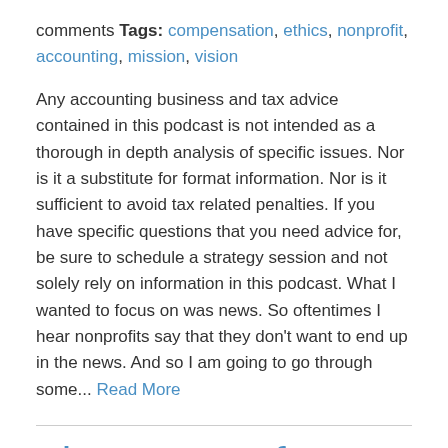comments Tags: compensation, ethics, nonprofit, accounting, mission, vision
Any accounting business and tax advice contained in this podcast is not intended as a thorough in depth analysis of specific issues. Nor is it a substitute for format information. Nor is it sufficient to avoid tax related penalties. If you have specific questions that you need advice for, be sure to schedule a strategy session and not solely rely on information in this podcast. What I wanted to focus on was news. So oftentimes I hear nonprofits say that they don't want to end up in the news. And so I am going to go through some... Read More
The Power of a Focused